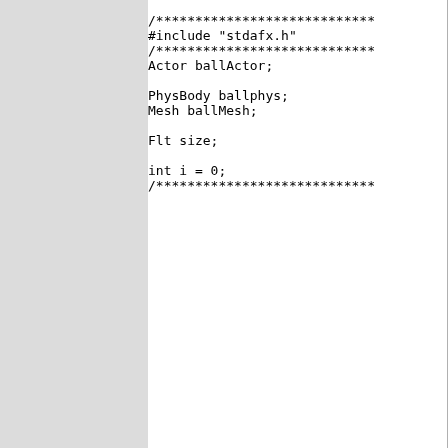[Figure (screenshot): Code editor screenshot showing C++ source code with Actor ballActor, PhysBody ballphys, Mesh ballMesh, Flt size, int i = 0 declarations, surrounded by comment lines of asterisks and #include stdafx.h]
and this is the error i get in visual studio 2008
Code:
[Figure (screenshot): Build output in Visual Studio 2008 showing: 1>------ Build started: Project:, 1>Compiling..., 1>00 - Start.cpp, 1>c:\users\nemesis\desktop\eepro..., 1>c:\users\nemesis\desktop\eepro..., before '{', 1>c:\users\nemesis\desktop\eepro..., header (old-style formal list?), 1>Build log was saved at file:/..., 1>Tutorials - 3 error(s), 0 warn:, ========== Build: 0 succeeded, 1]